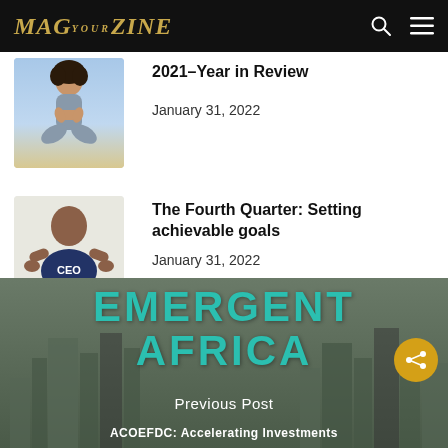MAGAZINE YOUR
2021–Year in Review
January 31, 2022
The Fourth Quarter: Setting achievable goals
January 31, 2022
[Figure (illustration): Emergent Africa magazine cover with teal block letters over city skyline background]
Previous Post
ACOEFDC: Accelerating Investments